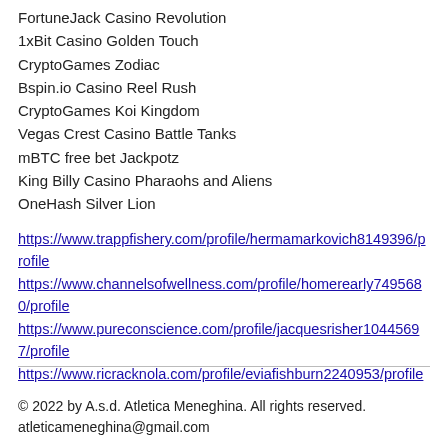FortuneJack Casino Revolution
1xBit Casino Golden Touch
CryptoGames Zodiac
Bspin.io Casino Reel Rush
CryptoGames Koi Kingdom
Vegas Crest Casino Battle Tanks
mBTC free bet Jackpotz
King Billy Casino Pharaohs and Aliens
OneHash Silver Lion
https://www.trappfishery.com/profile/hermamarkovich8149396/profile
https://www.channelsofwellness.com/profile/homerearly7495680/profile
https://www.pureconscience.com/profile/jacquesrisher10445697/profile
https://www.ricracknola.com/profile/eviafishburn2240953/profile
© 2022 by A.s.d. Atletica Meneghina. All rights reserved. atleticameneghina@gmail.com